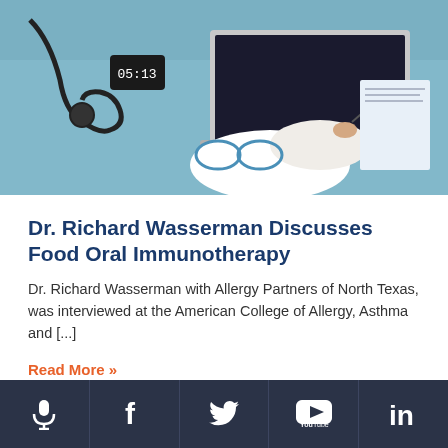[Figure (photo): Overhead view of a doctor in a white coat using a laptop at a desk with a stethoscope and glasses visible]
Dr. Richard Wasserman Discusses Food Oral Immunotherapy
Dr. Richard Wasserman with Allergy Partners of North Texas, was interviewed at the American College of Allergy, Asthma and [...]
Read More »
Social media icons: microphone, Facebook, Twitter, YouTube, LinkedIn